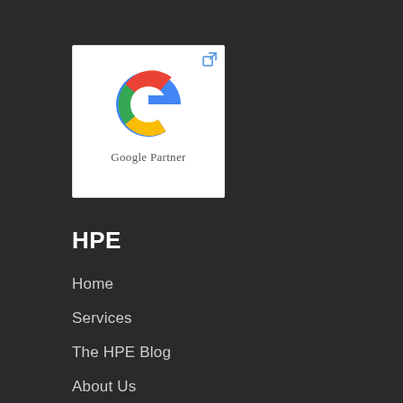[Figure (logo): Google Partner badge showing the Google 'G' logo in red, yellow, green, and blue colors, with 'Google Partner' text below, inside a white rounded rectangle. A small external link icon appears in the top-right corner.]
HPE
Home
Services
The HPE Blog
About Us
Contact Us
Sitemap